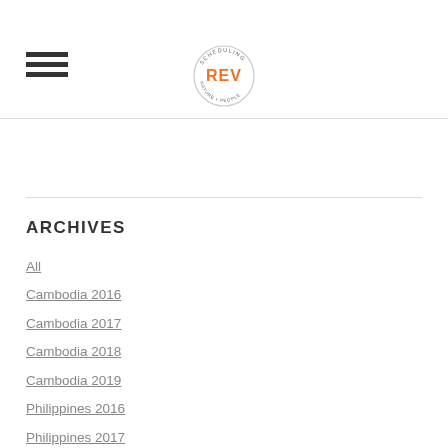Navigation header with hamburger menu and REV logo
[Figure (logo): Circular logo with text REV in orange and surrounding text ring]
ARCHIVES
All
Cambodia 2016
Cambodia 2017
Cambodia 2018
Cambodia 2019
Philippines 2016
Philippines 2017
Philippines 2018
Uganda 2016